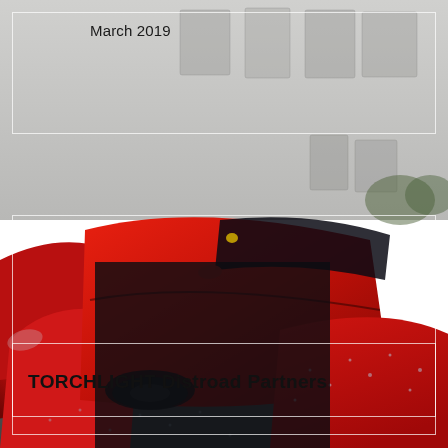[Figure (photo): Cover page image showing red Ferrari sports cars parked near a concrete wall, with raindrops visible on surfaces. Multiple red Ferraris shown from various angles. A dark overlay box appears in the middle-left area over the cars.]
March 2019
TORCHLIGHT Distroad Partners